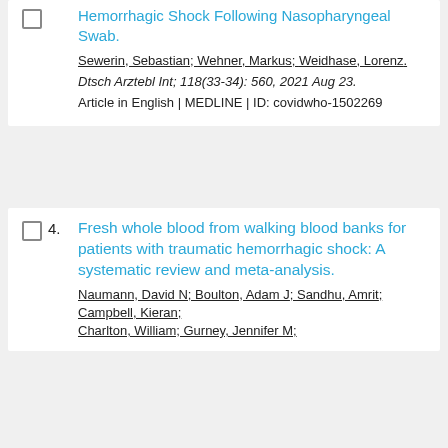Hemorrhagic Shock Following Nasopharyngeal Swab. Sewerin, Sebastian; Wehner, Markus; Weidhase, Lorenz. Dtsch Arztebl Int; 118(33-34): 560, 2021 Aug 23. Article in English | MEDLINE | ID: covidwho-1502269
4. Fresh whole blood from walking blood banks for patients with traumatic hemorrhagic shock: A systematic review and meta-analysis. Naumann, David N; Boulton, Adam J; Sandhu, Amrit; Campbell, Kieran; Charlton, William; Gurney, Jennifer M;